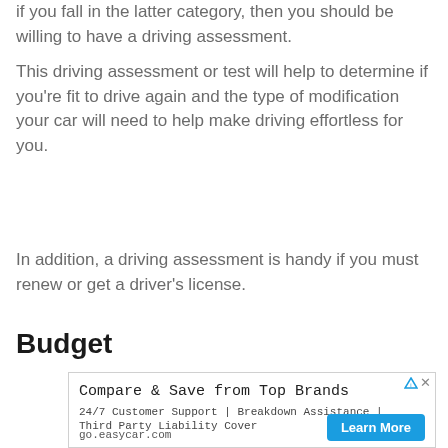if you fall in the latter category, then you should be willing to have a driving assessment.
This driving assessment or test will help to determine if you're fit to drive again and the type of modification your car will need to help make driving effortless for you.
In addition, a driving assessment is handy if you must renew or get a driver's license.
Budget
[Figure (other): Advertisement banner: Compare & Save from Top Brands. 24/7 Customer Support | Breakdown Assistance | Third Party Liability Cover. go.easycar.com. Learn More button.]